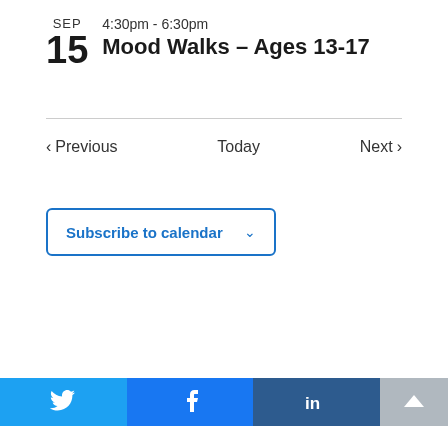SEP 15  4:30pm - 6:30pm  Mood Walks – Ages 13-17
Previous  Today  Next
Subscribe to calendar
[Figure (screenshot): Social share buttons: Twitter (blue), Facebook (blue), LinkedIn (dark blue), and a scroll-to-top button (gray)]
Add to calendar